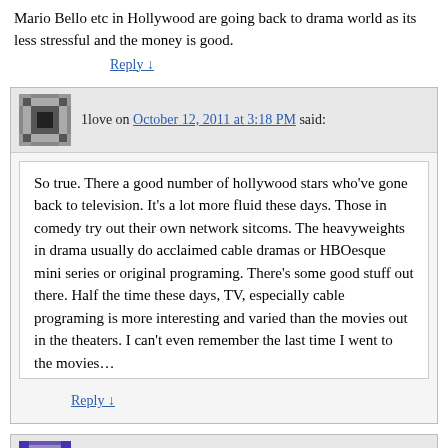Mario Bello etc in Hollywood are going back to drama world as its less stressful and the money is good.
Reply ↓
1love on October 12, 2011 at 3:18 PM said:
So true. There a good number of hollywood stars who've gone back to television. It's a lot more fluid these days. Those in comedy try out their own network sitcoms. The heavyweights in drama usually do acclaimed cable dramas or HBOesque mini series or original programing. There's some good stuff out there. Half the time these days, TV, especially cable programing is more interesting and varied than the movies out in the theaters. I can't even remember the last time I went to the movies…
Reply ↓
diorama on October 12, 2011 at 8:21 AM said:
I only recognize a few of these, and that's because I'm a